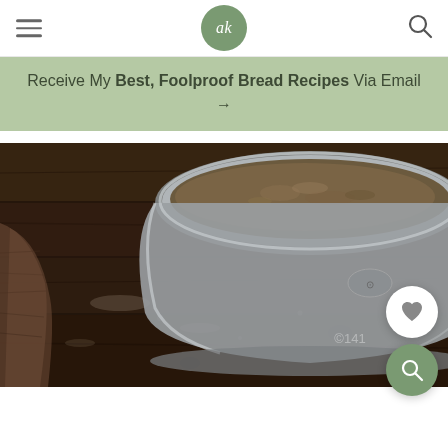ak logo with hamburger and search icons
Receive My Best, Foolproof Bread Recipes Via Email →
[Figure (photo): Overhead/angled close-up photo of a stainless steel mixing bowl containing grainy mixture, sitting on a dark rustic wooden table. A brown cloth napkin is visible on the left side. Flour dust scattered on the wood surface.]
[Figure (other): Floating heart (favorite) button — white circle with heart icon]
[Figure (other): Floating search button — green circle with magnifying glass icon]